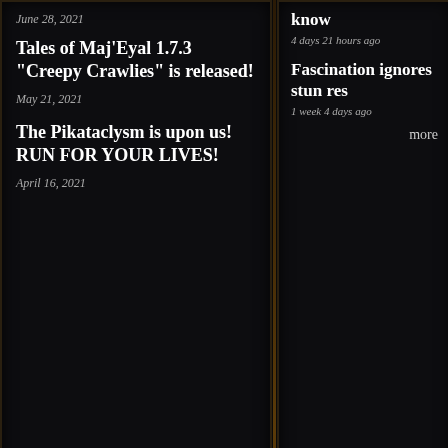June 28, 2021
Tales of Maj'Eyal 1.7.3 "Creepy Crawlies" is released!
May 21, 2021
The Pikataclysm is upon us! RUN FOR YOUR LIVES!
April 16, 2021
know
4 days 21 hours ago
Fascination ignores stun res
1 week 4 days ago
more
Gaming
| Stat | Value |
| --- | --- |
| Life | -4 |
| Stamina | 12 |
| Healing Factor | 1.0 |